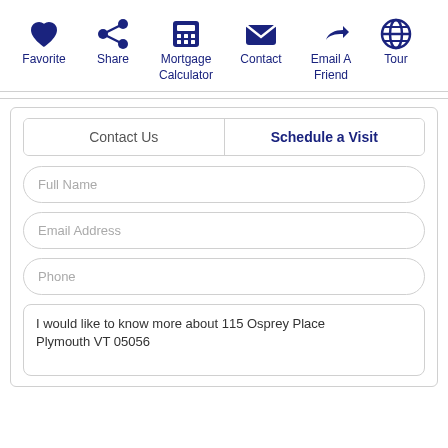[Figure (infographic): Toolbar with six icon+label items: Favorite (heart icon), Share (share icon), Mortgage Calculator (calculator icon), Contact (envelope icon), Email A Friend (reply icon), Tour (globe icon). All icons are dark navy blue.]
Contact Us | Schedule a Visit
Full Name
Email Address
Phone
I would like to know more about 115 Osprey Place Plymouth VT 05056